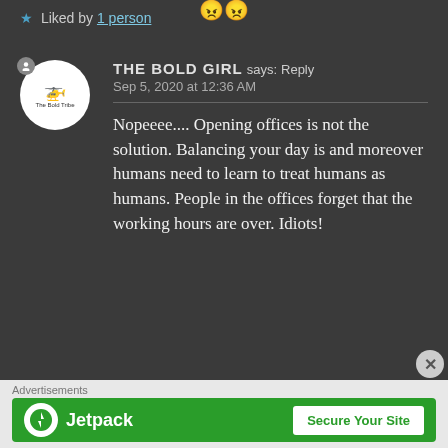[Figure (illustration): Two emoji faces (angry/frustrated faces) shown at top center]
★ Liked by 1 person
THE BOLD GIRL says: Reply
Sep 5, 2020 at 12:36 AM
Nopeeee.... Opening offices is not the solution. Balancing your day is and moreover humans need to learn to treat humans as humans. People in the offices forget that the working hours are over. Idiots!
Advertisements
[Figure (logo): Jetpack advertisement banner with green background, Jetpack logo on left and 'Secure Your Site' button on right]